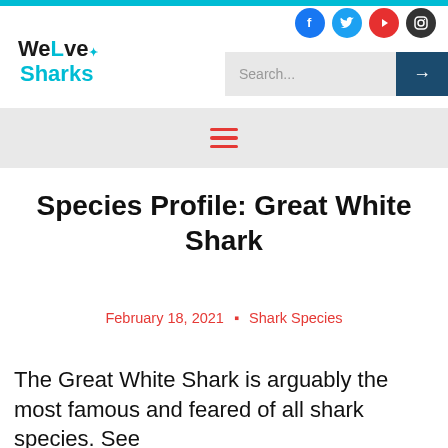WeLoveSharks
Species Profile: Great White Shark
February 18, 2021 • Shark Species
The Great White Shark is arguably the most famous and feared of all shark species. See